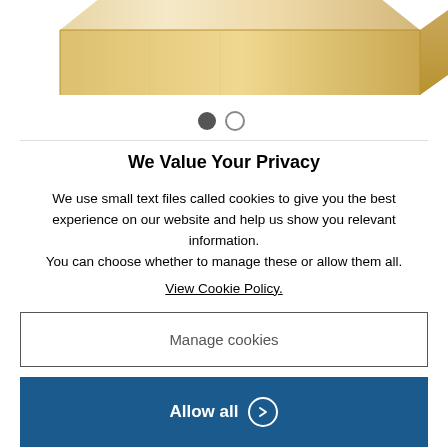[Figure (photo): Partial view of a wooden block or toy, light maple/birch colored wood, photographed from above on white background. Only bottom portion of object visible.]
[Figure (other): Carousel navigation dots: one filled dark circle (active) and one outlined circle (inactive)]
We Value Your Privacy
We use small text files called cookies to give you the best experience on our website and help us show you relevant information.
You can choose whether to manage these or allow them all.
View Cookie Policy.
Manage cookies
Allow all